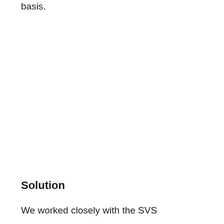basis.
Solution
We worked closely with the SVS